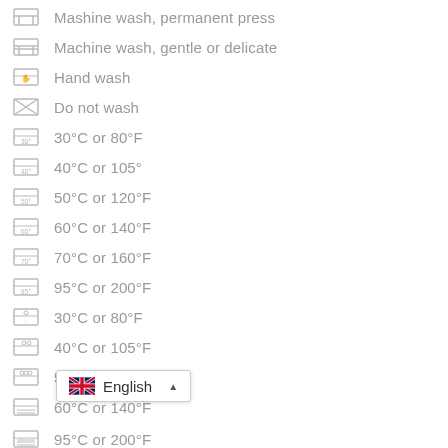Machine wash, permanent press
Machine wash, gentle or delicate
Hand wash
Do not wash
30°C or 80°F
40°C or 105°
50°C or 120°F
60°C or 140°F
70°C or 160°F
95°C or 200°F
30°C or 80°F
40°C or 105°F
50°C or 120°F
60°C or 140°F
70°C or 160°F
95°C or 200°F